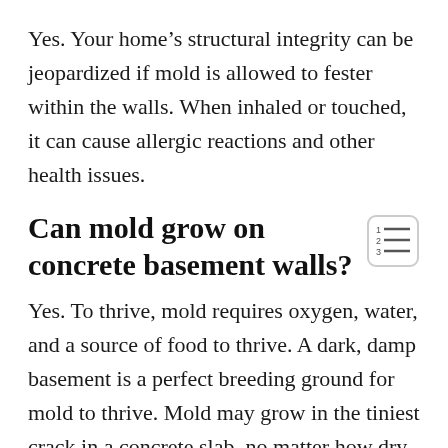Yes. Your home's structural integrity can be jeopardized if mold is allowed to fester within the walls. When inhaled or touched, it can cause allergic reactions and other health issues.
Can mold grow on concrete basement walls?
Yes. To thrive, mold requires oxygen, water, and a source of food to thrive. A dark, damp basement is a perfect breeding ground for mold to thrive. Mold may grow in the tiniest crack in a concrete slab, no matter how dry it is.